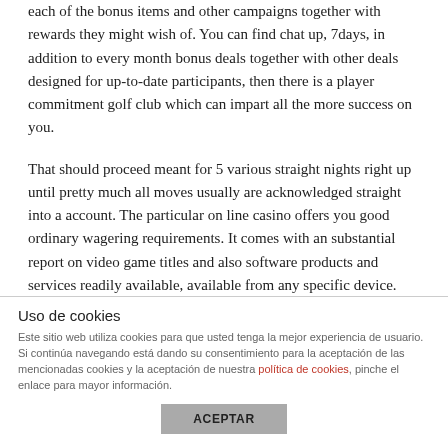each of the bonus items and other campaigns together with rewards they might wish of. You can find chat up, 7days, in addition to every month bonus deals together with other deals designed for up-to-date participants, then there is a player commitment golf club which can impart all the more success on you.
That should proceed meant for 5 various straight nights right up until pretty much all moves usually are acknowledged straight into a account. The particular on line casino offers you good ordinary wagering requirements. It comes with an substantial report on video game titles and also software products and services readily available, available from any specific device. This specific base provides a lot of responsible gaming programs together with collaborates by means of
Uso de cookies
Este sitio web utiliza cookies para que usted tenga la mejor experiencia de usuario. Si continúa navegando está dando su consentimiento para la aceptación de las mencionadas cookies y la aceptación de nuestra política de cookies, pinche el enlace para mayor información.